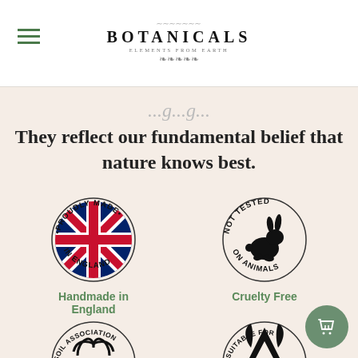BOTANICALS ELEMENTS FROM EARTH
They reflect our fundamental belief that nature knows best.
[Figure (logo): Proudly Made in England badge with Union Jack flag inside a circular stamp]
Handmade in England
[Figure (logo): Not Tested on Animals badge with rabbit silhouette inside a circular stamp]
Cruelty Free
[Figure (logo): Soil Association organic certification badge with circular logo]
[Figure (logo): Suitable for vegans badge with V leaf symbol inside a circular stamp]